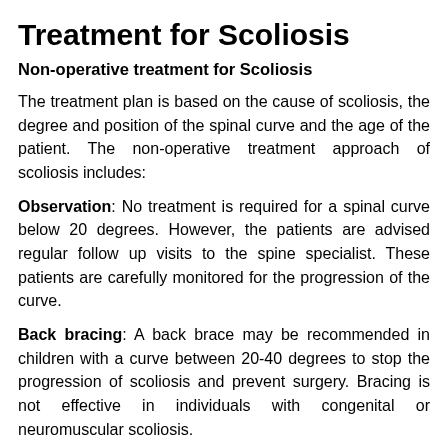Treatment for Scoliosis
Non-operative treatment for Scoliosis
The treatment plan is based on the cause of scoliosis, the degree and position of the spinal curve and the age of the patient. The non-operative treatment approach of scoliosis includes:
Observation: No treatment is required for a spinal curve below 20 degrees. However, the patients are advised regular follow up visits to the spine specialist. These patients are carefully monitored for the progression of the curve.
Back bracing: A back brace may be recommended in children with a curve between 20-40 degrees to stop the progression of scoliosis and prevent surgery. Bracing is not effective in individuals with congenital or neuromuscular scoliosis.
Surgery for Scoliosis